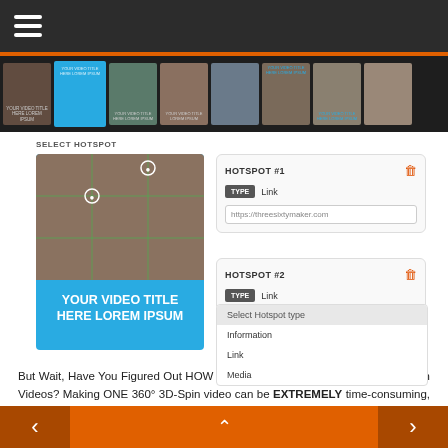[Figure (screenshot): Top navigation bar with hamburger menu icon on dark background]
[Figure (screenshot): Horizontal thumbnail strip showing 360-degree video thumbnails, one highlighted in blue]
SELECT HOTSPOT
[Figure (screenshot): Video preview card with grid overlay showing leather texture image and title 'YOUR VIDEO TITLE HERE LOREM IPSUM' on cyan/blue background]
[Figure (screenshot): Hotspot #1 panel with TYPE: Link and URL https://threesixtymaker.com]
[Figure (screenshot): Hotspot #2 panel with TYPE: Link and dropdown showing Select Hotspot type, Information, Link, Media options]
But Wait, Have You Figured Out HOW You Will Be Creating These 360° 3D-Spin Videos? Making ONE 360° 3D-Spin video can be EXTREMELY time-consuming, expensive, and difficult to create. The software you need requires you to shell out $3000 or more AND takes forever to learn and master. Even then, it's a whole
[Figure (screenshot): Bottom navigation bar with orange background, left arrow, up arrow, right arrow]